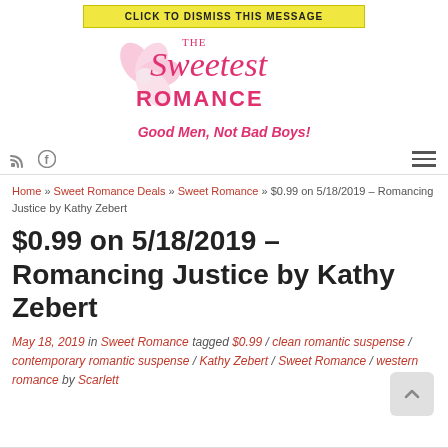CLICK TO DISMISS THIS MESSAGE
[Figure (logo): The Sweetest Romance logo with pink flower decoration and text]
Good Men, Not Bad Boys!
RSS feed icon and Facebook icon on left; hamburger menu on right
Home » Sweet Romance Deals » Sweet Romance » $0.99 on 5/18/2019 – Romancing Justice by Kathy Zebert
$0.99 on 5/18/2019 – Romancing Justice by Kathy Zebert
May 18, 2019 in Sweet Romance tagged $0.99 / clean romantic suspense / contemporary romantic suspense / Kathy Zebert / Sweet Romance / western romance by Scarlett